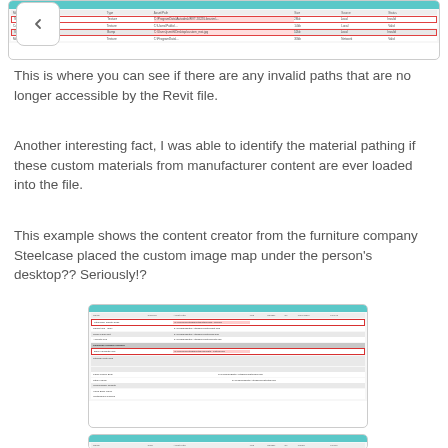[Figure (screenshot): Screenshot of a Revit material paths table with some rows highlighted in red, partially visible at top of page]
This is where you can see if there are any invalid paths that are no longer accessible by the Revit file.
Another interesting fact, I was able to identify the material pathing if these custom materials from manufacturer content are ever loaded into the file.
This example shows the content creator from the furniture company Steelcase placed the custom image map under the person's desktop?? Seriously!?
[Figure (screenshot): Screenshot of a Revit material paths table showing multiple rows, with two rows highlighted in red border indicating invalid paths. Some rows are shaded gray. Shows furniture company Steelcase content paths.]
[Figure (screenshot): Partial screenshot of another Revit material paths table, cut off at bottom of page]